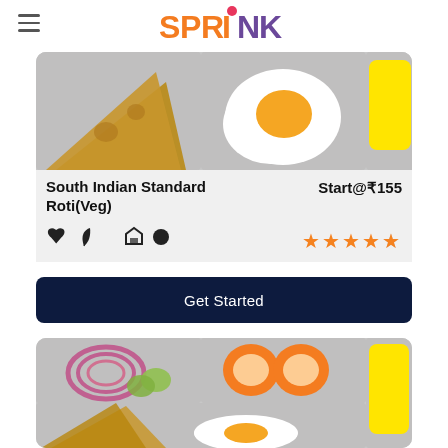SPRINK (logo)
[Figure (illustration): Food tray illustration showing bread/roti, fried egg, and yellow item in compartments]
South Indian Standard Roti(Veg)
Start@₹155
[Figure (illustration): Icons: heart, leaf, home, circle; star rating approximately 4 out of 5]
Get Started
[Figure (illustration): Second food tray illustration showing onion/cucumber salad, eggs, yellow item, and roti compartments]